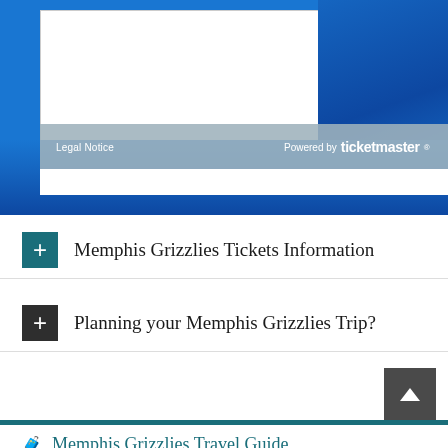[Figure (photo): Blue stadium seats/bleachers with a white panel overlay and a semi-transparent gray footer bar showing 'Legal Notice' and 'Powered by Ticketmaster' branding]
Legal Notice
Powered by ticketmaster®
Memphis Grizzlies Tickets Information
Planning your Memphis Grizzlies Trip?
Memphis Grizzlies Travel Guide